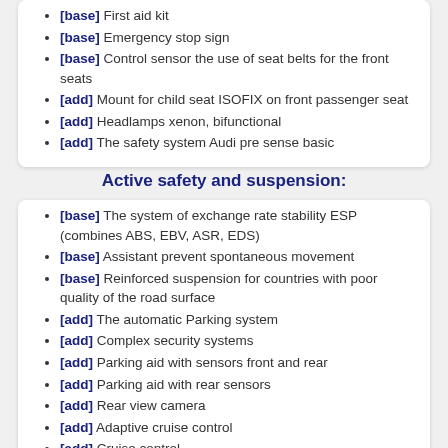[base] First aid kit
[base] Emergency stop sign
[base] Control sensor the use of seat belts for the front seats
[add] Mount for child seat ISOFIX on front passenger seat
[add] Headlamps xenon, bifunctional
[add] The safety system Audi pre sense basic
Active safety and suspension:
[base] The system of exchange rate stability ESP (combines ABS, EBV, ASR, EDS)
[base] Assistant prevent spontaneous movement
[base] Reinforced suspension for countries with poor quality of the road surface
[add] The automatic Parking system
[add] Complex security systems
[add] Parking aid with sensors front and rear
[add] Parking aid with rear sensors
[add] Rear view camera
[add] Adaptive cruise control
[add] Cruise control
[add] The distance monitoring system (Audi pre sense front)
[add] Audi drive select: the mode selection of